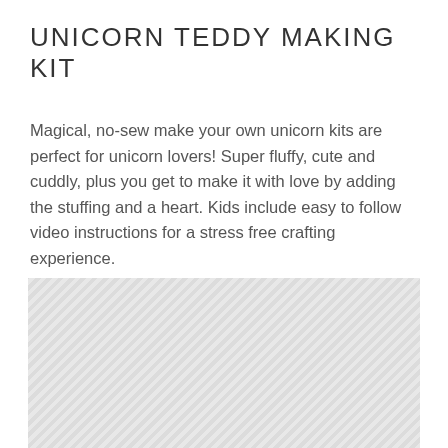UNICORN TEDDY MAKING KIT
Magical, no-sew make your own unicorn kits are perfect for unicorn lovers! Super fluffy, cute and cuddly, plus you get to make it with love by adding the stuffing and a heart. Kids include easy to follow video instructions for a stress free crafting experience.
[Figure (photo): Image placeholder with diagonal hatching pattern representing a product photo area]